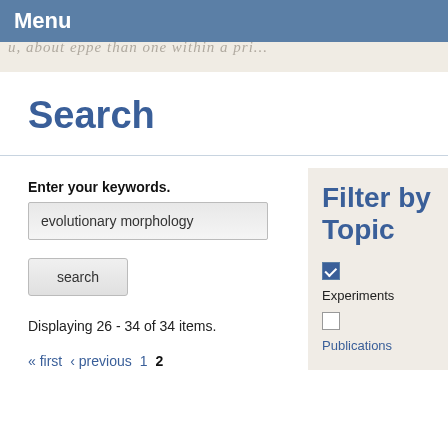Menu
[Figure (other): Handwritten script text watermark background band]
Search
Enter your keywords.
evolutionary morphology
search
Displaying 26 - 34 of 34 items.
« first  ‹ previous  1  2
Filter by Topic
Experiments
Publications